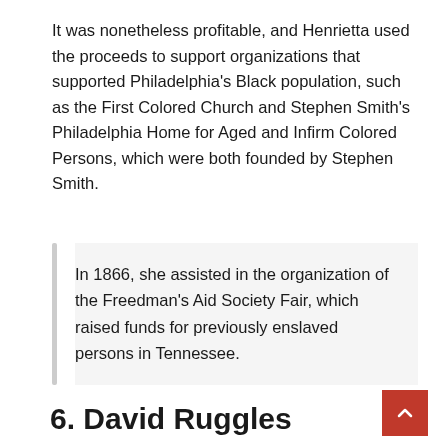It was nonetheless profitable, and Henrietta used the proceeds to support organizations that supported Philadelphia's Black population, such as the First Colored Church and Stephen Smith's Philadelphia Home for Aged and Infirm Colored Persons, which were both founded by Stephen Smith.
In 1866, she assisted in the organization of the Freedman's Aid Society Fair, which raised funds for previously enslaved persons in Tennessee.
6. David Ruggles